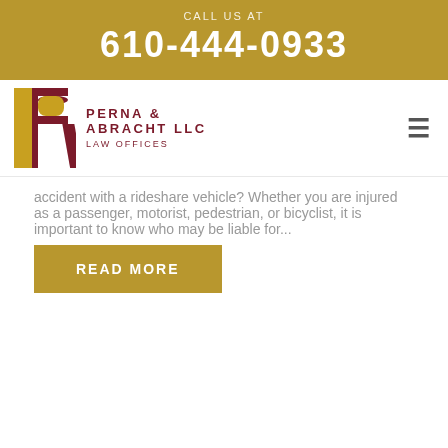CALL US AT
610-444-0933
[Figure (logo): Perna & Abracht LLC Law Offices logo with stylized PR letters in red and gold]
accident with a rideshare vehicle? Whether you are injured as a passenger, motorist, pedestrian, or bicyclist, it is important to know who may be liable for...
READ MORE